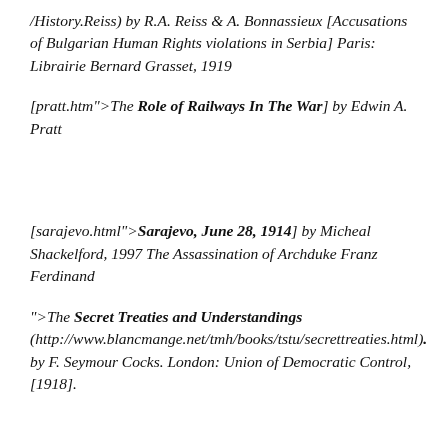/History.Reiss) by R.A. Reiss & A. Bonnassieux [Accusations of Bulgarian Human Rights violations in Serbia] Paris: Librairie Bernard Grasset, 1919
[pratt.htm">The Role of Railways In The War] by Edwin A. Pratt
[sarajevo.html">Sarajevo, June 28, 1914] by Micheal Shackelford, 1997 The Assassination of Archduke Franz Ferdinand
">The Secret Treaties and Understandings (http://www.blancmange.net/tmh/books/tstu/secrettreaties.html). by F. Seymour Cocks. London: Union of Democratic Control, [1918].